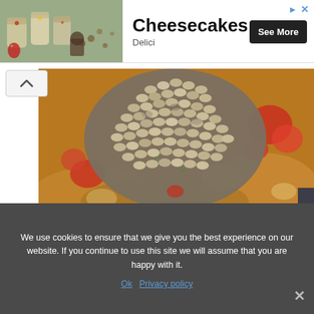[Figure (photo): Advertisement banner showing cheesecakes in jars with 'Cheesecakes', 'Delici', and 'See More' button]
[Figure (photo): Close-up photo of soaked lentils being added to a stew with tomatoes and broth]
Adding the soaked lentils to the stew
We use cookies to ensure that we give you the best experience on our website. If you continue to use this site we will assume that you are happy with it.
Ok   Privacy policy